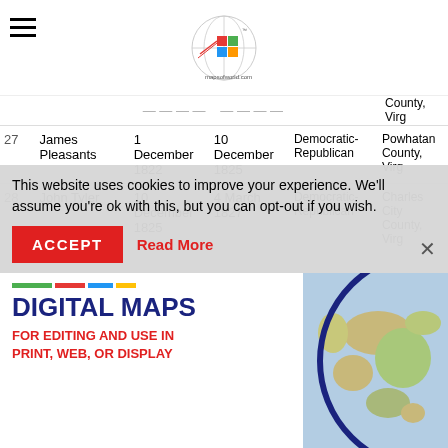mapsofworld.com navigation header
| # | Name | Start | End | Party | Location |
| --- | --- | --- | --- | --- | --- |
| 27 | James Pleasants | 1 December 1822 | 10 December 1825 | Democratic-Republican | Powhatan County, Virginia |
| 28 | John Tyler | 10 December 1825 | 4 March 1827 | Democratic-Republican | Charles City County, Virginia |
| 29 | William Branch Giles | 4 March 1827 | 4 March 1830 | Democratic | Amelia Courthouse, Virginia |
| 30 | Littleton... | 4 March ... | 31 March 1834 |  | Floyd's Station, Virginia |
| 31 | Littleton | 31 March ... | 30 April ... |  | William... |
This website uses cookies to improve your experience. We'll assume you're ok with this, but you can opt-out if you wish.
[Figure (infographic): Digital Maps advertisement banner with colorful stripes, bold text 'DIGITAL MAPS FOR EDITING AND USE IN PRINT, WEB, OR DISPLAY' and a partial world map image]